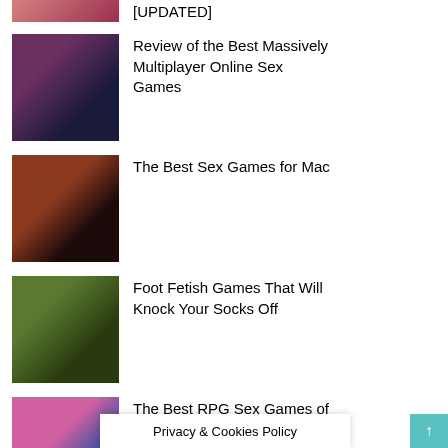[UPDATED]
Review of the Best Massively Multiplayer Online Sex Games
The Best Sex Games for Mac
Foot Fetish Games That Will Knock Your Socks Off
The Best RPG Sex Games of 2021
Privacy & Cookies Policy